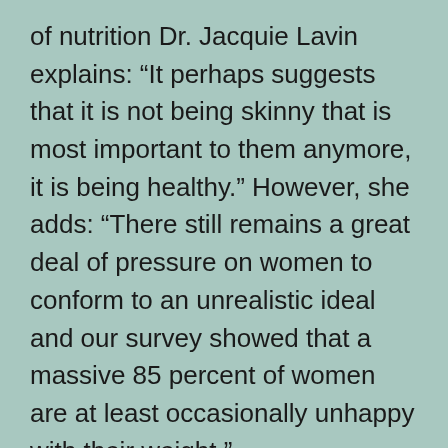of nutrition Dr. Jacquie Lavin explains: “It perhaps suggests that it is not being skinny that is most important to them anymore, it is being healthy.” However, she adds: “There still remains a great deal of pressure on women to conform to an unrealistic ideal and our survey showed that a massive 85 percent of women are at least occasionally unhappy with their weight.”
Last but not least, I’d like to talk about Magic Johnson and his battle with AIDS, as well as his gutsy advocacy efforts. Magic announced his infection in November 1991 and